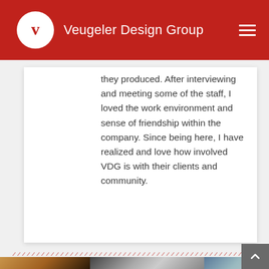Veugeler Design Group
they produced. After interviewing and meeting some of the staff, I loved the work environment and sense of friendship within the company. Since being here, I have realized and love how involved VDG is with their clients and community.
[Figure (photo): Bottom strip showing three partial portrait photos: a person with dark hair (color), a person with glasses (black and white), and a third person (partial view).]